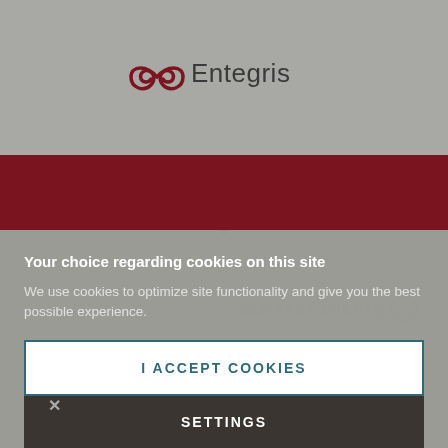[Figure (logo): Entegris company logo with stylized double-loop icon in dark red and 'Entegris' text in dark gray]
[Figure (illustration): Dark red banner with a large downward-pointing chevron/arrow shape creating a decorative header element on gray background]
SEE PAST EVENTS ›
Your choice regarding cookies on this site
We use cookies to optimize site functionality and give you the best possible experience.
I ACCEPT COOKIES
SETTINGS